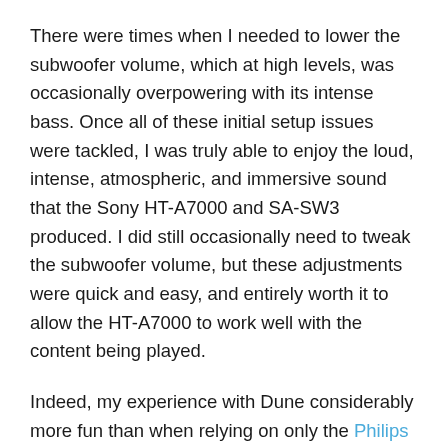There were times when I needed to lower the subwoofer volume, which at high levels, was occasionally overpowering with its intense bass. Once all of these initial setup issues were tackled, I was truly able to enjoy the loud, intense, atmospheric, and immersive sound that the Sony HT-A7000 and SA-SW3 produced. I did still occasionally need to tweak the subwoofer volume, but these adjustments were quick and easy, and entirely worth it to allow the HT-A7000 to work well with the content being played.
Indeed, my experience with Dune considerably more fun than when relying on only the Philips 55PUT8115/94 television's – or rather most televisions' – basic speaker system. The audio quality and sound experience of the Sony soundbar also far outclassed the picture levels that this particular Philips TV managed, which is why I mentioned in the beginning that it's best to match this speaker setup with a TV